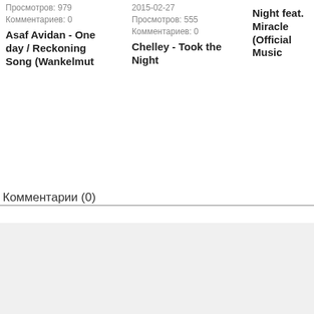Просмотров: 979
Комментариев: 0
Asaf Avidan - One day / Reckoning Song (Wankelmut
2015-02-27
Просмотров: 555
Комментариев: 0
Chelley - Took the Night
Night feat. Miracle (Official Music
Комментарии (0)
[Figure (logo): Headphones with sound waves icon, black on light gray background]